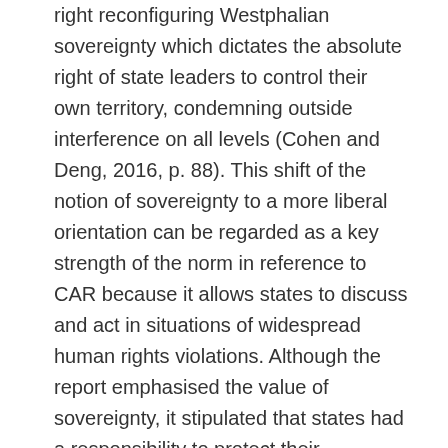right reconfiguring Westphalian sovereignty which dictates the absolute right of state leaders to control their own territory, condemning outside interference on all levels (Cohen and Deng, 2016, p. 88). This shift of the notion of sovereignty to a more liberal orientation can be regarded as a key strength of the norm in reference to CAR because it allows states to discuss and act in situations of widespread human rights violations. Although the report emphasised the value of sovereignty, it stipulated that states had a responsibility to protect their populations and under specific circumstances of state failings to do so, the principle of non-intervention could be overruled (Glanville, 2016, p. 160). In CAR, 'the successive ruling elites and their entourage never demonstrated any sense of responsibility or accountability towards the populations they were meant to administer' (UNSC, 2015, p. 27). Widespread human rights violations had been occurring